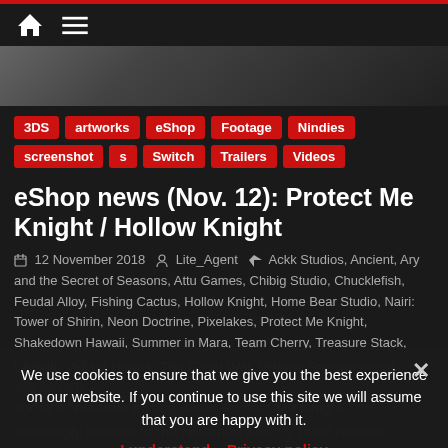Home | Menu
[Figure (photo): Dark hero image, partial character artwork visible]
3DS
artworks
eShop
Footage
Nindies
screenshots
s
Switch
Trailers
Videos
eShop news (Nov. 12): Protect Me Knight / Hollow Knight
12 November 2018  Lite_Agent  Ackk Studios, Ancient, Ary and the Secret of Seasons, Attu Games, Chibig Studio, Chucklefish, Feudal Alloy, Fishing Cactus, Hollow Knight, Home Bear Studio, Nairi: Tower of Shirin, Neon Doctrine, Pixelakes, Protect Me Knight, Shakedown Hawaii, Summer in Mara, Team Cherry, Treasure Stack, Ubisoft, Valiant Hearts: The Great War, VBlank Entertainment, WarioWare...
We use cookies to ensure that we give you the best experience on our website. If you continue to use this site we will assume that you are happy with it.
I understand  Privacy policy
Today's Nintendo eShop news: Protect Me Knight seemingly headed to the Nintendo Switch, retail release cancelled for Hollow Knight, more early pictures for Ary...